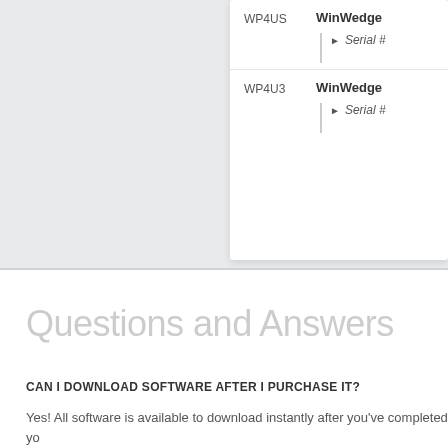|  | Product |
| --- | --- |
| WP4US | WinWedge
Serial # |
| WP4U3 | WinWedge
Serial # |
Questions and Answers
CAN I DOWNLOAD SOFTWARE AFTER I PURCHASE IT?
Yes! All software is available to download instantly after you've completed yo...